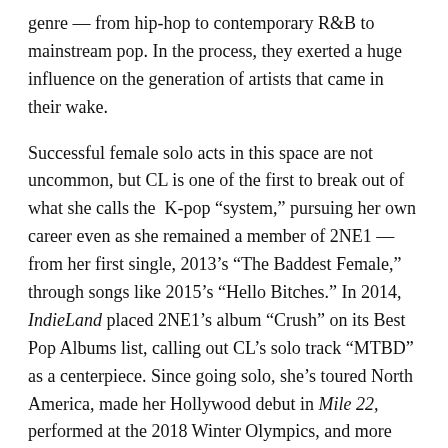genre — from hip-hop to contemporary R&B to mainstream pop. In the process, they exerted a huge influence on the generation of artists that came in their wake.
Successful female solo acts in this space are not uncommon, but CL is one of the first to break out of what she calls the K-pop "system," pursuing her own career even as she remained a member of 2NE1 — from her first single, 2013's "The Baddest Female," through songs like 2015's "Hello Bitches." In 2014, IndieLand placed 2NE1's album "Crush" on its Best Pop Albums list, calling out CL's solo track "MTBD" as a centerpiece. Since going solo, she's toured North America, made her Hollywood debut in Mile 22, performed at the 2018 Winter Olympics, and more recently, left her longtime label.
blogherads.adq.push(function () {
blogherads